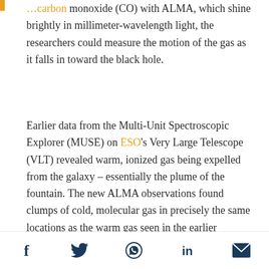...carbon monoxide (CO) with ALMA, which shine brightly in millimeter-wavelength light, the researchers could measure the motion of the gas as it falls in toward the black hole.
Earlier data from the Multi-Unit Spectroscopic Explorer (MUSE) on ESO's Very Large Telescope (VLT) revealed warm, ionized gas being expelled from the galaxy – essentially the plume of the fountain. The new ALMA observations found clumps of cold, molecular gas in precisely the same locations as the warm gas seen in the earlier observations.
"The unique aspect here is a very detailed coupled analysis of the source using data from ALMA and the MUSE. The two facilities make for an incredibly
Social share icons: Facebook, Twitter, WhatsApp, LinkedIn, Email